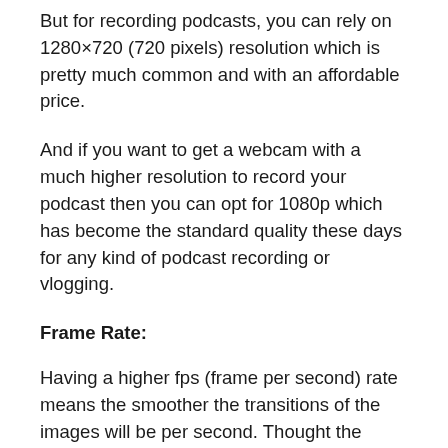But for recording podcasts, you can rely on 1280×720 (720 pixels) resolution which is pretty much common and with an affordable price.
And if you want to get a webcam with a much higher resolution to record your podcast then you can opt for 1080p which has become the standard quality these days for any kind of podcast recording or vlogging.
Frame Rate:
Having a higher fps (frame per second) rate means the smoother the transitions of the images will be per second. Thought the minimum rate is 15 fps but usually it's